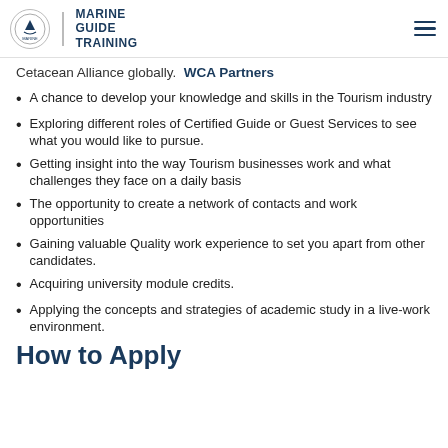MARINE GUIDE TRAINING
Cetacean Alliance globally.  WCA Partners
A chance to develop your knowledge and skills in the Tourism industry
Exploring different roles of Certified Guide or Guest Services to see what you would like to pursue.
Getting insight into the way Tourism businesses work and what challenges they face on a daily basis
The opportunity to create a network of contacts and work opportunities
Gaining valuable Quality work experience to set you apart from other candidates.
Acquiring university module credits.
Applying the concepts and strategies of academic study in a live-work environment.
How to Apply